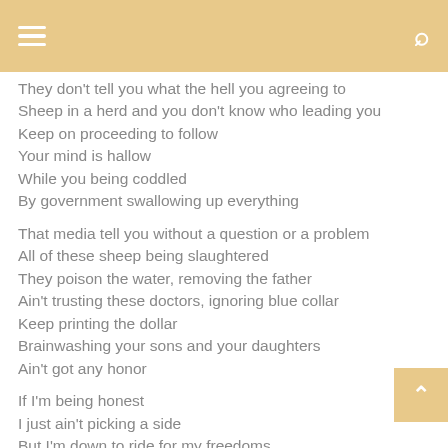☰  🔍
They don't tell you what the hell you agreeing to
Sheep in a herd and you don't know who leading you
Keep on proceeding to follow
Your mind is hallow
While you being coddled
By government swallowing up everything

That media tell you without a question or a problem
All of these sheep being slaughtered
They poison the water, removing the father
Ain't trusting these doctors, ignoring blue collar
Keep printing the dollar
Brainwashing your sons and your daughters
Ain't got any honor

If I'm being honest
I just ain't picking a side
But I'm down to ride for my freedoms
And die for your freedoms and question the government lies